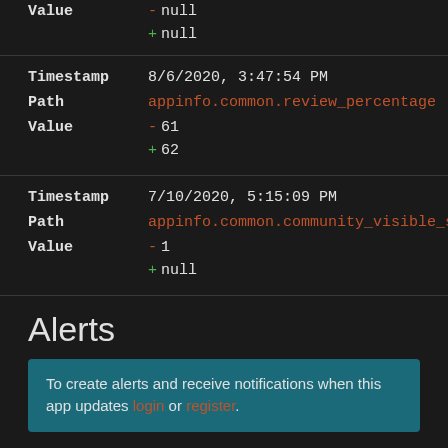Value  - null  + null
Timestamp  8/6/2020, 3:47:54 PM
Path  appinfo.common.review_percentage
Value  - 61  + 62
Timestamp  7/10/2020, 5:15:09 PM
Path  appinfo.common.community_visible_stats
Value  - 1  + null
Alerts
To create alerts and receive notifications when this app updates login or register.